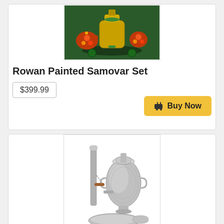[Figure (photo): Colorful painted samovar set with floral Khokhloma-style decoration in red, orange, and green on dark background, with teapot and decorative items]
Rowan Painted Samovar Set
$399.99
Buy Now
[Figure (photo): Silver/chrome traditional Russian samovar set with ornate engraved decorations, tall chimney pipe, tray, and bowl accessories on white background]